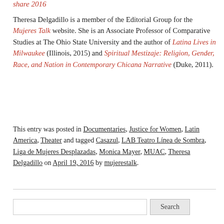Theresa Delgadillo is a member of the Editorial Group for the Mujeres Talk website. She is an Associate Professor of Comparative Studies at The Ohio State University and the author of Latina Lives in Milwaukee (Illinois, 2015) and Spiritual Mestizaje: Religion, Gender, Race, and Nation in Contemporary Chicana Narrative (Duke, 2011).
This entry was posted in Documentaries, Justice for Women, Latin America, Theater and tagged Casazul, LAB Teatro Línea de Sombra, Liga de Mujeres Desplazadas, Monica Mayer, MUAC, Theresa Delgadillo on April 19, 2016 by mujerestalk.